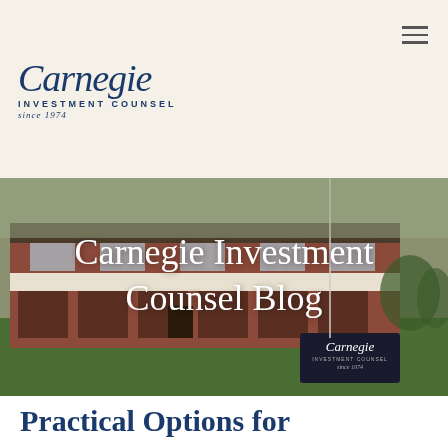Carnegie Investment Counsel since 1974
[Figure (photo): Exterior photo of Carnegie Investment Counsel office building, a brick building with arched garage bays and green lawn, with a Carnegie Investment Counsel sign visible in the lower right. White overlaid text reads 'Carnegie Investment Counsel Blog'.]
Practical Options for